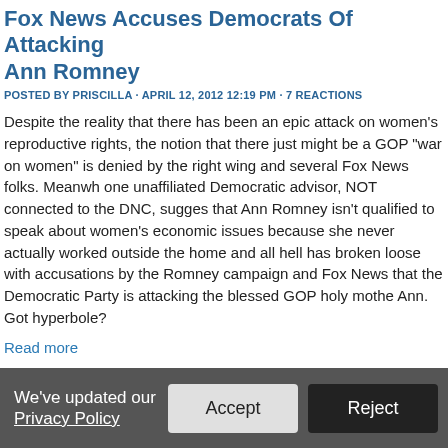Fox News Accuses Democrats Of Attacking Ann Romney
POSTED BY PRISCILLA · APRIL 12, 2012 12:19 PM · 7 REACTIONS
Despite the reality that there has been an epic attack on women's reproductive rights, the notion that there just might be a GOP "war on women" is denied by the right wing and several Fox News folks. Meanwhile, one unaffiliated Democratic advisor, NOT connected to the DNC, suggested that Ann Romney isn't qualified to speak about women's economic issues because she never actually worked outside the home and all hell has broken loose with accusations by the Romney campaign and Fox News that the Democratic Party is attacking the blessed GOP holy mother Ann. Got hyperbole?
Read more
7 reactions   Share
We've updated our Privacy Policy   Accept   Reject